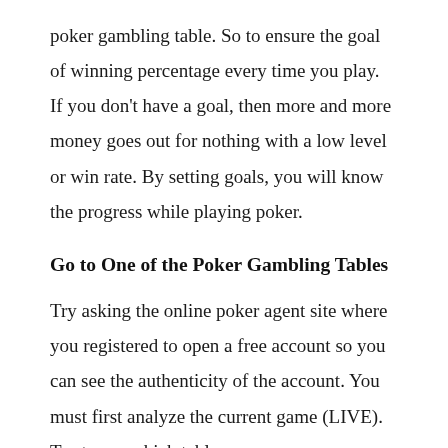poker gambling table. So to ensure the goal of winning percentage every time you play. If you don't have a goal, then more and more money goes out for nothing with a low level or win rate. By setting goals, you will know the progress while playing poker.
Go to One of the Poker Gambling Tables
Try asking the online poker agent site where you registered to open a free account so you can see the authenticity of the account. You must first analyze the current game (LIVE). Try to see which table